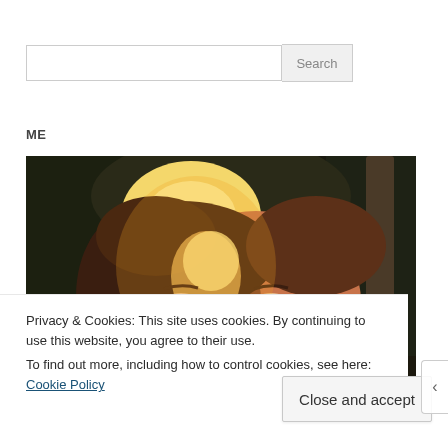[Figure (screenshot): Search bar with text input field and 'Search' button]
ME
[Figure (photo): Close-up portrait photo of a woman's face with sunlight on one side and dark forest background]
Privacy & Cookies: This site uses cookies. By continuing to use this website, you agree to their use.
To find out more, including how to control cookies, see here: Cookie Policy
Close and accept